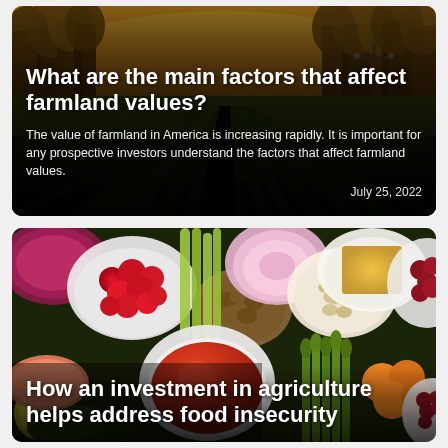[Figure (photo): Golden hour aerial view of farmland crop rows stretching to horizon with trees silhouetted against warm orange sky and a utility pole]
What are the main factors that affect farmland values?
The value of farmland in America is increasing rapidly. It is important for any prospective investors understand the factors that affect farmland values.
July 25, 2022
[Figure (photo): Overhead flat lay of various food items including raspberries, red cabbage, walnuts, celery, radish, pistachios, corn, asparagus, apricots, cranberries, tomato sauce, lemon slices]
How an investment in agriculture helps address food insecurity